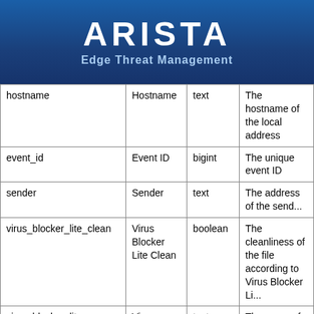ARISTA Edge Threat Management
| Column | Display | Type | Description |
| --- | --- | --- | --- |
| hostname | Hostname | text | The hostname of the local address |
| event_id | Event ID | bigint | The unique event ID |
| sender | Sender | text | The address of the sender |
| virus_blocker_lite_clean | Virus Blocker Lite Clean | boolean | The cleanliness of the file according to Virus Blocker Li... |
| virus_blocker_lite_name | Virus Blocker Lite Name | text | The name of the malware according to Virus... |